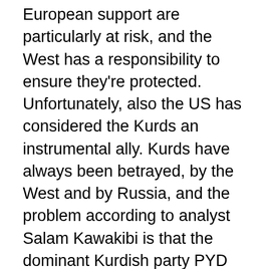European support are particularly at risk, and the West has a responsibility to ensure they're protected. Unfortunately, also the US has considered the Kurds an instrumental ally. Kurds have always been betrayed, by the West and by Russia, and the problem according to analyst Salam Kawakibi is that the dominant Kurdish party PYD (Democratic Union Party), the only one with strong armed militias out of sixteen Kurdish parties in the area, has brought the Syrian Kurdish community to embrace shortsighted alliances to pursue its own political ambitions, thus exposing all Kurds to global risky geopolitical games[5]. And now, Kurdish SDF who decided to turn to Damascus for protection will pay a price for that. Syrian regime's policies of discrimination and cooptation vis-à-vis the Kurds will continue, as history teaches us: between 1972 and 1977, a policy of colonization was implemented by Damascus in the significant areas related to